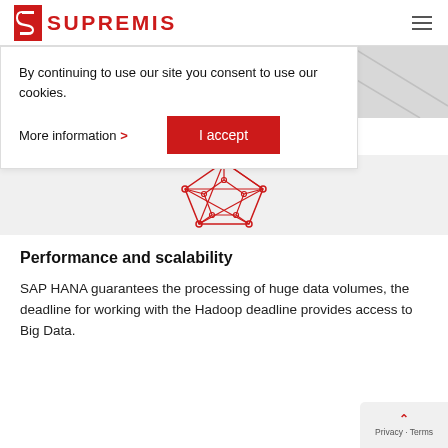SUPREMIS
By continuing to use our site you consent to use our cookies.
More information >
I accept
[Figure (illustration): Red wireframe geometric star/polyhedron network icon]
Performance and scalability
SAP HANA guarantees the processing of huge data volumes, the deadline for working with the Hadoop deadline provides access to Big Data.
Privacy · Terms